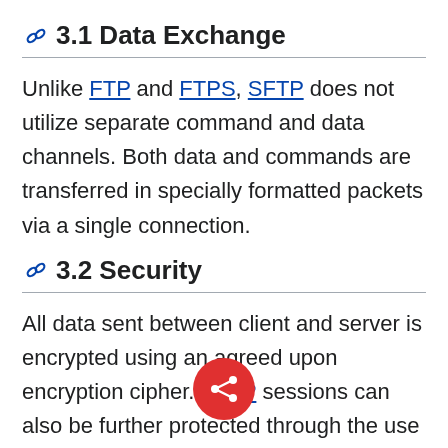3.1 Data Exchange
Unlike FTP and FTPS, SFTP does not utilize separate command and data channels. Both data and commands are transferred in specially formatted packets via a single connection.
3.2 Security
All data sent between client and server is encrypted using an agreed upon encryption cipher. SFTP sessions can also be further protected through the use of public and private keys, which offer an alternative form of authentication known as public key authentication. This be used as an